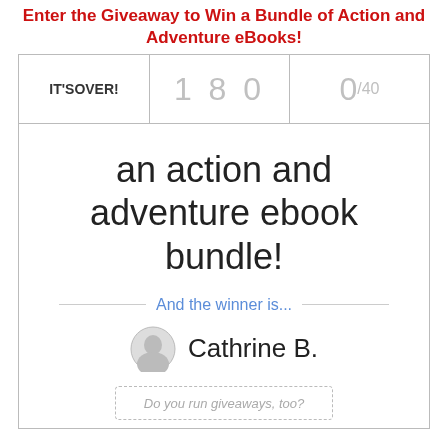Enter the Giveaway to Win a Bundle of Action and Adventure eBooks!
[Figure (screenshot): Giveaway widget showing IT'S OVER status with count 180 and 0/40 entries, prize text 'an action and adventure ebook bundle!', winner section with avatar and name Cathrine B., and a dashed box with text 'Do you run giveaways, too?']
an action and adventure ebook bundle!
And the winner is...
Cathrine B.
Do you run giveaways, too?